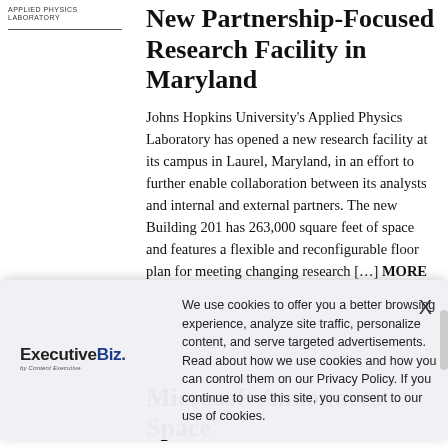APPLIED PHYSICS LABORATORY
New Partnership-Focused Research Facility in Maryland
Johns Hopkins University's Applied Physics Laboratory has opened a new research facility at its campus in Laurel, Maryland, in an effort to further enable collaboration between its analysts and internal and external partners. The new Building 201 has 263,000 square feet of space and features a flexible and reconfigurable floor plan for meeting changing research […] MORE
[Figure (logo): ExecutiveBiz logo with tagline 'by Content Executive']
We use cookies to offer you a better browsing experience, analyze site traffic, personalize content, and serve targeted advertisements. Read about how we use cookies and how you can control them on our Privacy Policy. If you continue to use this site, you consent to our use of cookies.
Microsoft Announces Space